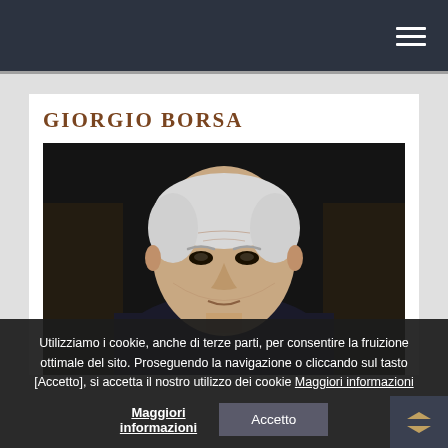☰ (hamburger menu)
GIORGIO BORSA
[Figure (photo): Black and white portrait photograph of an elderly man with white hair wearing a dark suit, seated in what appears to be an ornate chair]
Utilizziamo i cookie, anche di terze parti, per consentire la fruizione ottimale del sito. Proseguendo la navigazione o cliccando sul tasto [Accetto], si accetta il nostro utilizzo dei cookie Maggiori informazioni
Accetto